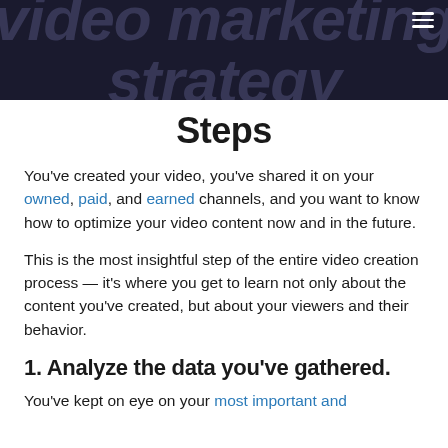Video Marketing Strategy
Steps
You've created your video, you've shared it on your owned, paid, and earned channels, and you want to know how to optimize your video content now and in the future.
This is the most insightful step of the entire video creation process — it's where you get to learn not only about the content you've created, but about your viewers and their behavior.
1. Analyze the data you've gathered.
You've kept on eye on your most important and